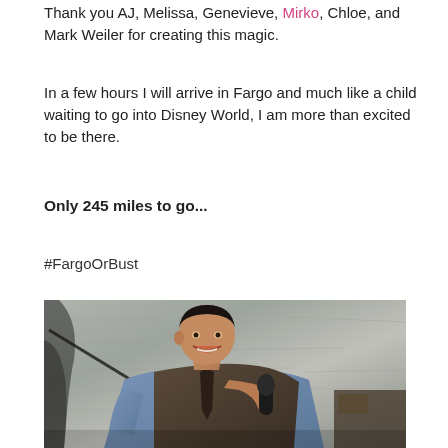Thank you AJ, Melissa, Genevieve, Mirko, Chloe, and Mark Weiler for creating this magic.
In a few hours I will arrive in Fargo and much like a child waiting to go into Disney World, I am more than excited to be there.
Only 245 miles to go...
#FargoOrBust
[Figure (photo): A man smiling and holding a microphone, wearing a blue shirt and dark vest, performing in front of a textured stone/concrete wall background.]